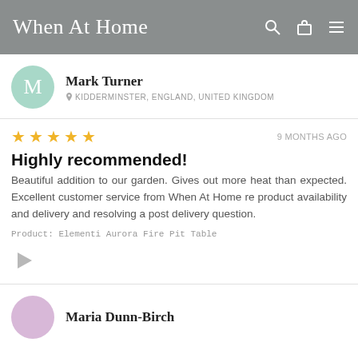When At Home
Mark Turner
KIDDERMINSTER, ENGLAND, UNITED KINGDOM
★★★★★  9 MONTHS AGO
Highly recommended!
Beautiful addition to our garden. Gives out more heat than expected. Excellent customer service from When At Home re product availability and delivery and resolving a post delivery question.
Product: Elementi Aurora Fire Pit Table
Maria Dunn-Birch